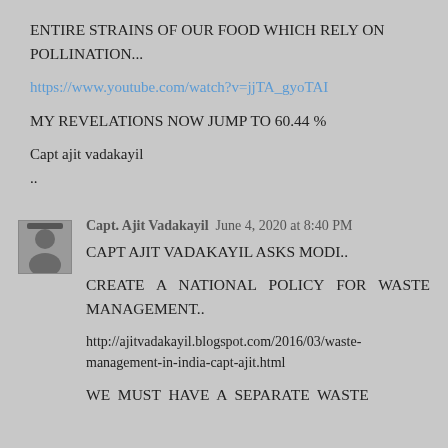ENTIRE STRAINS OF OUR FOOD WHICH RELY ON POLLINATION...
https://www.youtube.com/watch?v=jjTA_gyoTAI
MY REVELATIONS NOW JUMP TO 60.44 %
Capt ajit vadakayil
..
Capt. Ajit Vadakayil  June 4, 2020 at 8:40 PM
CAPT AJIT VADAKAYIL ASKS MODI..
CREATE A NATIONAL POLICY FOR WASTE MANAGEMENT..
http://ajitvadakayil.blogspot.com/2016/03/waste-management-in-india-capt-ajit.html
WE MUST HAVE A SEPARATE WASTE